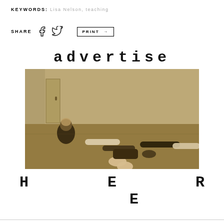KEYWORDS: Lisa Nelson, teaching
SHARE [facebook] [twitter] PRINT →
advertise
[Figure (photo): Sepia-toned photograph of several people lying on a wooden studio floor, one person sitting up, others lying flat, in what appears to be a dance or movement class studio with mirrors.]
H E R E